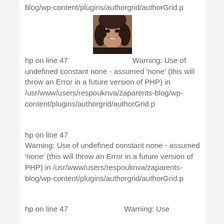blog/wp-content/plugins/authorgrid/authorGrid.p
[Figure (photo): Portrait photo of a woman with dark hair, smiling]
hp on line 47 Warning: Use of undefined constant none - assumed 'none' (this will throw an Error in a future version of PHP) in /usr/www/users/respouknva/zaparents-blog/wp-content/plugins/authorgrid/authorGrid.p
hp on line 47
Warning: Use of undefined constant none - assumed 'none' (this will throw an Error in a future version of PHP) in /usr/www/users/respouknva/zaparents-blog/wp-content/plugins/authorgrid/authorGrid.p
hp on line 47    Warning: Use of undefined constant none - assumed